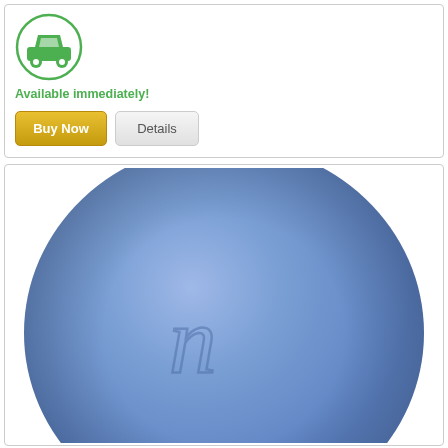[Figure (illustration): Green car icon inside a green circle, representing availability/delivery]
Available immediately!
[Figure (other): Buy Now button (gold/yellow) and Details button (grey)]
[Figure (photo): Close-up photograph of a round blue pill/tablet with the letter 'n' embossed on it]